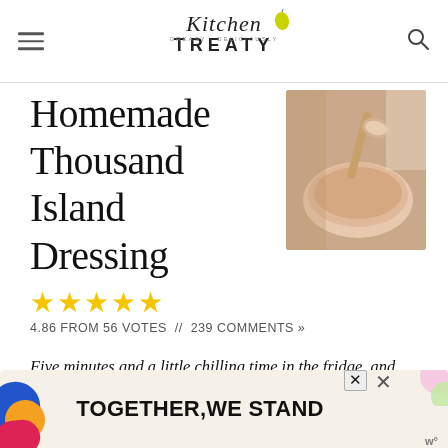Kitchen Treaty
Homemade Thousand Island Dressing
[Figure (photo): A glass bowl of Thousand Island dressing with a spoon scooping it, creamy pinkish-orange color, blurred background with wooden spoons]
4.86 FROM 56 VOTES // 239 COMMENTS »
Five minutes and a little chilling time in the fridge, and you've got a tangy, zesty, "secret" sauce that's equally at home on a burger as it is over a salad. Far less expensive than store-bought and it tastes, well,
[Figure (other): Advertisement banner reading TOGETHER, WE STAND with colorful abstract shapes and close buttons]